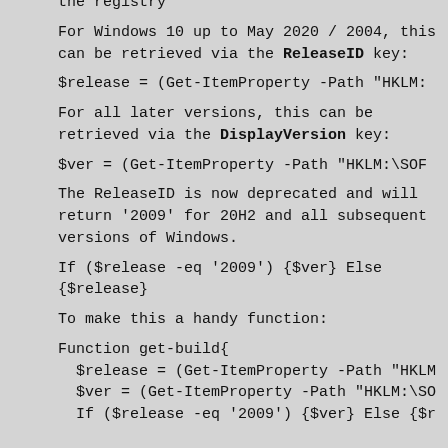the registry
For Windows 10 up to May 2020 / 2004, this can be retrieved via the ReleaseID key:
For all later versions, this can be retrieved via the DisplayVersion key:
The ReleaseID is now deprecated and will return '2009' for 20H2 and all subsequent versions of Windows.
To make this a handy function: